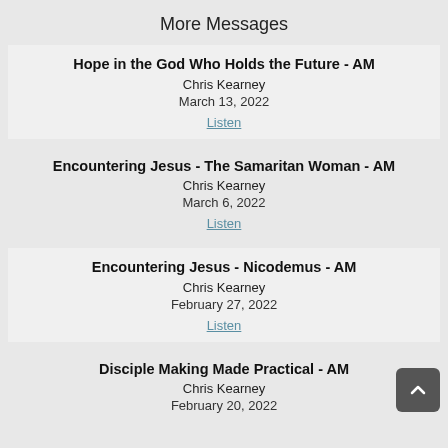More Messages
Hope in the God Who Holds the Future - AM
Chris Kearney
March 13, 2022
Listen
Encountering Jesus - The Samaritan Woman - AM
Chris Kearney
March 6, 2022
Listen
Encountering Jesus - Nicodemus - AM
Chris Kearney
February 27, 2022
Listen
Disciple Making Made Practical - AM
Chris Kearney
February 20, 2022